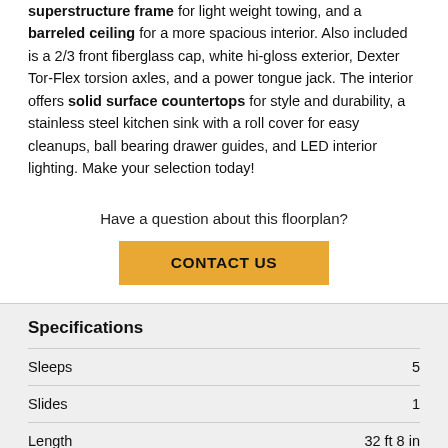superstructure frame for light weight towing, and a barreled ceiling for a more spacious interior. Also included is a 2/3 front fiberglass cap, white hi-gloss exterior, Dexter Tor-Flex torsion axles, and a power tongue jack. The interior offers solid surface countertops for style and durability, a stainless steel kitchen sink with a roll cover for easy cleanups, ball bearing drawer guides, and LED interior lighting. Make your selection today!
Have a question about this floorplan?
CONTACT US
Specifications
|  |  |
| --- | --- |
| Sleeps | 5 |
| Slides | 1 |
| Length | 32 ft 8 in |
| Ext Width | 8 ft |